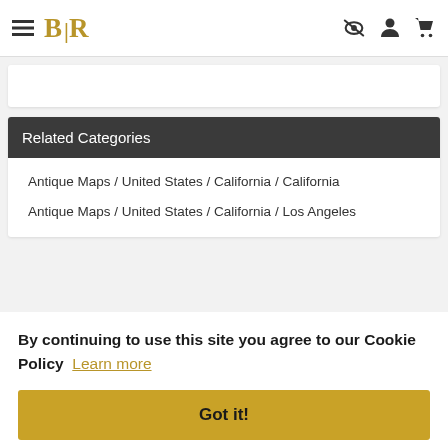BLR
Related Categories
Antique Maps / United States / California / California
Antique Maps / United States / California / Los Angeles
By continuing to use this site you agree to our Cookie Policy  Learn more
Got it!